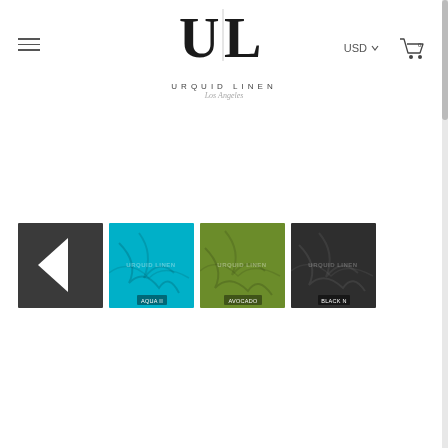[Figure (logo): Urquid Linen Los Angeles logo with UL monogram]
USD ▾
[Figure (illustration): Shopping cart icon with 0 items]
[Figure (photo): Navigation thumbnail strip showing: dark grey arrow/back button, aqua blue fabric swatch labeled AQUA II, avocado green fabric swatch labeled AVOCADO, and dark charcoal fabric swatch labeled BLACK N]